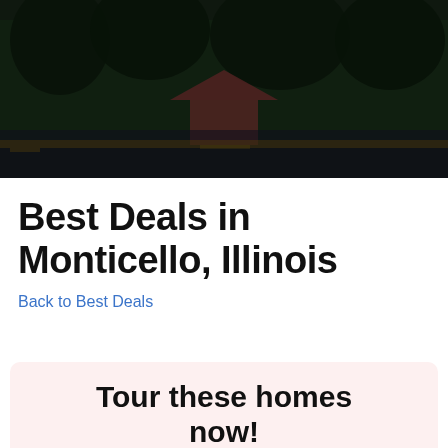Illinois Homes for Sale — Houses for Sale
Best Deals in Monticello, Illinois
Back to Best Deals
Tour these homes now!